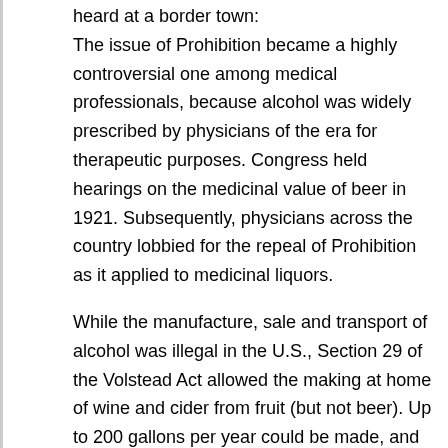heard at a border town:
The issue of Prohibition became a highly controversial one among medical professionals, because alcohol was widely prescribed by physicians of the era for therapeutic purposes. Congress held hearings on the medicinal value of beer in 1921. Subsequently, physicians across the country lobbied for the repeal of Prohibition as it applied to medicinal liquors.
While the manufacture, sale and transport of alcohol was illegal in the U.S., Section 29 of the Volstead Act allowed the making at home of wine and cider from fruit (but not beer). Up to 200 gallons per year could be made, and some vineyards grew grapes for home use. Also, one anomaly of the Act as worded was that it did not actually prohibit the